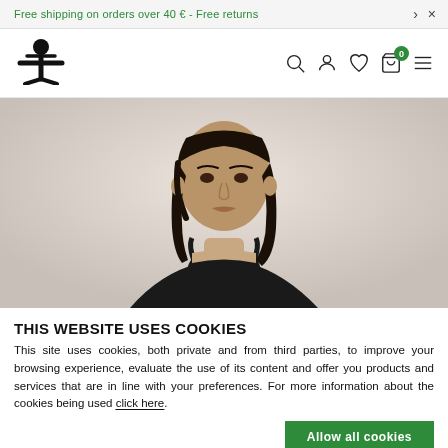Free shipping on orders over 40 € - Free returns
[Figure (logo): Benetton/United Colors logo - stylized human figure with radiating lines]
[Figure (photo): Fashion model with long dark hair wearing a black top against a light gray background]
THIS WEBSITE USES COOKIES
This site uses cookies, both private and from third parties, to improve your browsing experience, evaluate the use of its content and offer you products and services that are in line with your preferences. For more information about the cookies being used click here.